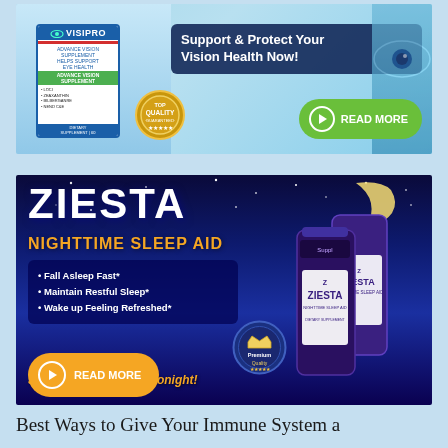[Figure (photo): VisiPro vision health supplement advertisement banner with product bottle, 'Support & Protect Your Vision Health Now!' headline, TOP QUALITY badge, green READ MORE button]
[Figure (photo): Ziesta Nighttime Sleep Aid advertisement banner with large ZIESTA title, moon and stars night sky background, bullet points (Fall Asleep Fast, Maintain Restful Sleep, Wake up Feeling Refreshed), orange READ MORE button, product bottles, Premium Quality badge]
Best Ways to Give Your Immune System a